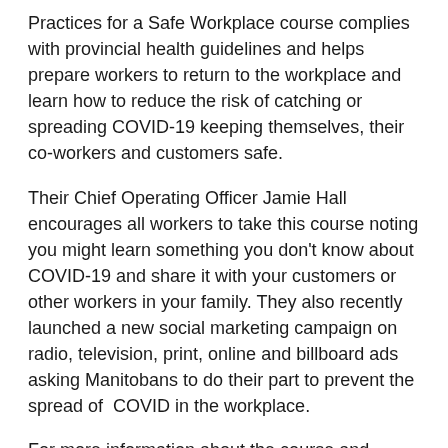Practices for a Safe Workplace course complies with provincial health guidelines and helps prepare workers to return to the workplace and learn how to reduce the risk of catching or spreading COVID-19 keeping themselves, their co-workers and customers safe.
Their Chief Operating Officer Jamie Hall encourages all workers to take this course noting you might learn something you don't know about COVID-19 and share it with your customers or other workers in your family. They also recently launched a new social marketing campaign on radio, television, print, online and billboard ads asking Manitobans to do their part to prevent the spread of COVID in the workplace.
For more information about the course and SAFE Work Manitoba's online COVID-19 resources visit their website www.safemanitoba.com.